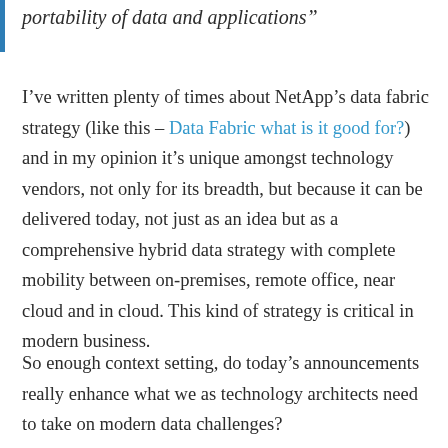portability of data and applications”
I’ve written plenty of times about NetApp’s data fabric strategy (like this – Data Fabric what is it good for?) and in my opinion it’s unique amongst technology vendors, not only for its breadth, but because it can be delivered today, not just as an idea but as a comprehensive hybrid data strategy with complete mobility between on-premises, remote office, near cloud and in cloud. This kind of strategy is critical in modern business.
So enough context setting, do today’s announcements really enhance what we as technology architects need to take on modern data challenges?